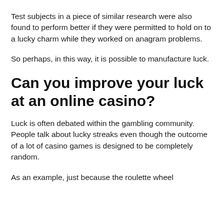Test subjects in a piece of similar research were also found to perform better if they were permitted to hold on to a lucky charm while they worked on anagram problems.
So perhaps, in this way, it is possible to manufacture luck.
Can you improve your luck at an online casino?
Luck is often debated within the gambling community. People talk about lucky streaks even though the outcome of a lot of casino games is designed to be completely random.
As an example, just because the roulette wheel